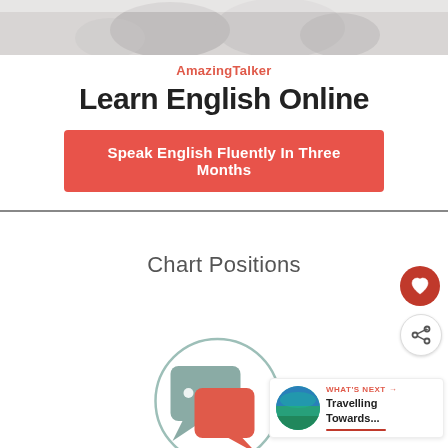[Figure (screenshot): Top banner of AmazingTalker advertisement showing partial photo of people at the top, a coral/salmon colored brand name 'AmazingTalker', bold heading 'Learn English Online', and a red CTA button 'Speak English Fluently In Three Months']
AmazingTalker
Learn English Online
Speak English Fluently In Three Months
Chart Positions
[Figure (illustration): Circular icon with two overlapping speech/chat bubbles in muted teal/green and coral/red colors with ellipsis dots, partially visible at bottom, enclosed in a light teal circle outline]
[Figure (screenshot): Side panel showing 'WHAT'S NEXT' with a thumbnail image and text 'Travelling Towards...' with an underline, plus heart and share icon buttons]